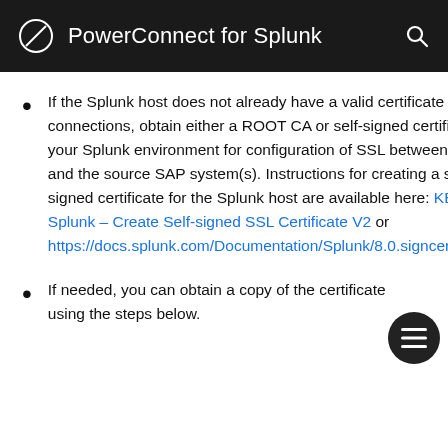PowerConnect for Splunk
If the Splunk host does not already have a valid certificate for web connections, obtain either a ROOT CA or self-signed certificate for your Splunk environment for configuration of SSL between Splunk and the source SAP system(s). Instructions for creating a self-signed certificate for the Splunk host are available here: KB 95 - Splunk – Create Self-signed SSL Certificate V2 or https://docs.splunk.com/Documentation/Splunk/8.0.signcertificates
If needed, you can obtain a copy of the certificate using the steps below.